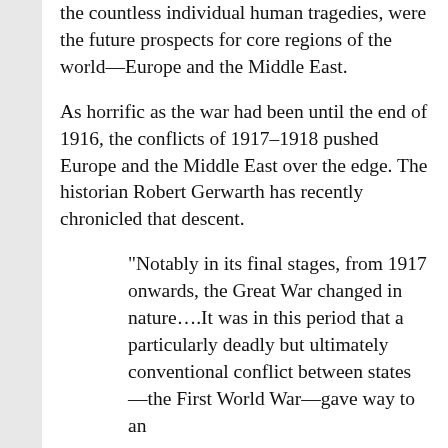the countless individual human tragedies, were the future prospects for core regions of the world—Europe and the Middle East.
As horrific as the war had been until the end of 1916, the conflicts of 1917–1918 pushed Europe and the Middle East over the edge. The historian Robert Gerwarth has recently chronicled that descent.
“Notably in its final stages, from 1917 onwards, the Great War changed in nature….It was in this period that a particularly deadly but ultimately conventional conflict between states—the First World War—gave way to an